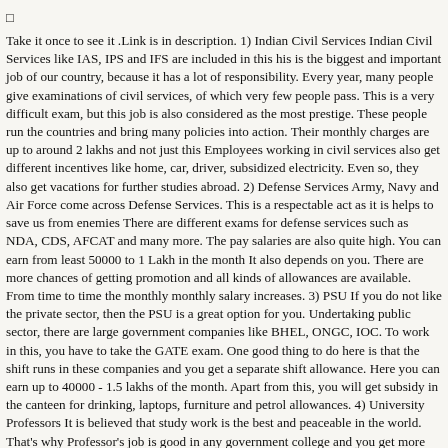□
Take it once to see it .Link is in description. 1) Indian Civil Services Indian Civil Services like IAS, IPS and IFS are included in this his is the biggest and important job of our country, because it has a lot of responsibility. Every year, many people give examinations of civil services, of which very few people pass. This is a very difficult exam, but this job is also considered as the most prestige. These people run the countries and bring many policies into action. Their monthly charges are up to around 2 lakhs and not just this Employees working in civil services also get different incentives like home, car, driver, subsidized electricity. Even so, they also get vacations for further studies abroad. 2) Defense Services Army, Navy and Air Force come across Defense Services. This is a respectable act as it is helps to save us from enemies There are different exams for defense services such as NDA, CDS, AFCAT and many more. The pay salaries are also quite high. You can earn from least 50000 to 1 Lakh in the month It also depends on you. There are more chances of getting promotion and all kinds of allowances are available. From time to time the monthly monthly salary increases. 3) PSU If you do not like the private sector, then the PSU is a great option for you. Undertaking public sector, there are large government companies like BHEL, ONGC, IOC. To work in this, you have to take the GATE exam. One good thing to do here is that the shift runs in these companies and you get a separate shift allowance. Here you can earn up to 40000 - 1.5 lakhs of the month. Apart from this, you will get subsidy in the canteen for drinking, laptops, furniture and petrol allowances. 4) University Professors It is believed that study work is the best and peaceable in the world. That's why Professor's job is good in any government college and you get more respect. The professor's monthly fee depends on different things If you are NIT or IIT professor then your salary will be much higher. If you have PhD, then your scale of pay will be different from other professors. But educationally at a university it can go up to at least 40,000 🌐 Adding